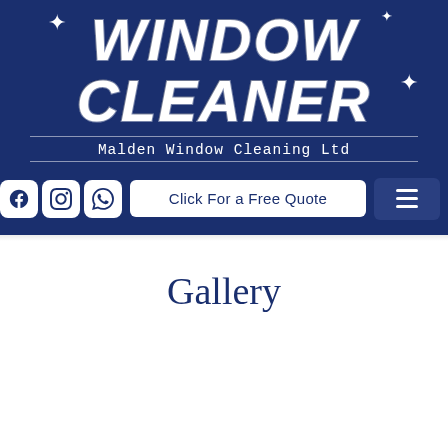[Figure (logo): Window Cleaner logo with bold italic white text on dark navy background, with sparkle decorations. Subtitle reads: Malden Window Cleaning Ltd]
[Figure (screenshot): Navigation bar with social icons (Facebook, Instagram, WhatsApp), a 'Click For a Free Quote' button, and a hamburger menu icon on dark navy background]
Gallery